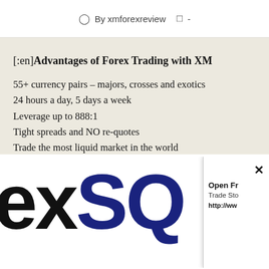By xmforexreview  -
[:en]Advantages of Forex Trading with XM
55+ currency pairs – majors, crosses and exotics
24 hours a day, 5 days a week
Leverage up to 888:1
Tight spreads and NO re-quotes
Trade the most liquid market in the world
[Figure (logo): Partial logo showing 'exSQ' text in large bold letters, 'ex' in black and 'SQ' in dark blue, representing a forex broker brand]
Open Fr
Trade Sto
http://www